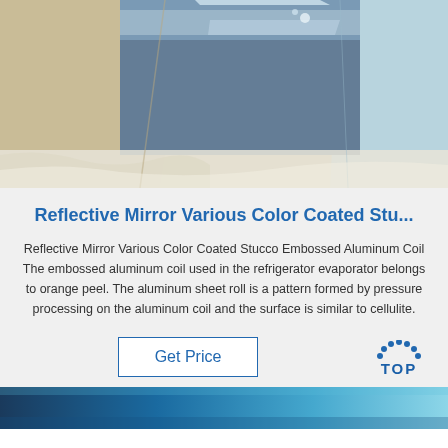[Figure (photo): A packaged aluminum coil product with blue-tinted metallic surface, wrapped in beige/cream paper and clear plastic packaging.]
Reflective Mirror Various Color Coated Stu...
Reflective Mirror Various Color Coated Stucco Embossed Aluminum Coil The embossed aluminum coil used in the refrigerator evaporator belongs to orange peel. The aluminum sheet roll is a pattern formed by pressure processing on the aluminum coil and the surface is similar to cellulite.
[Figure (logo): TOP logo with dotted arc above the word TOP in blue]
[Figure (photo): Bottom strip showing blue colored aluminum or metallic material, partially visible]